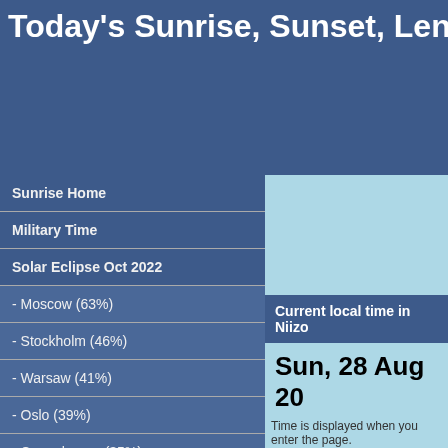Today's Sunrise, Sunset, Length
Sunrise Home
Military Time
Solar Eclipse Oct 2022
- Moscow (63%)
- Stockholm (46%)
- Warsaw (41%)
- Oslo (39%)
- Copenhagen (35%)
- Berlin (32%)
Solar Eclipse Live Online
COVID-19 Pandemic
Current local time in Niizo
Sun, 28 Aug 20
Time is displayed when you enter the page.
| 28 August 2022 |
| --- |
| Sunrise: | 05:10 |
| Sunset: | 18:15 |